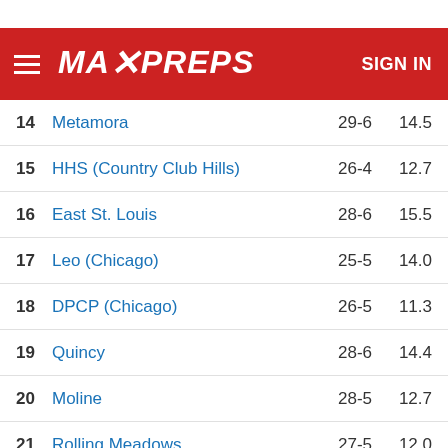MaxPreps — SIGN IN
| Rank | Team | Record | Pts |
| --- | --- | --- | --- |
| 14 | Metamora | 29-6 | 14.5 |
| 15 | HHS (Country Club Hills) | 26-4 | 12.7 |
| 16 | East St. Louis | 28-6 | 15.5 |
| 17 | Leo (Chicago) | 25-5 | 14.0 |
| 18 | DPCP (Chicago) | 26-5 | 11.3 |
| 19 | Quincy | 28-6 | 14.4 |
| 20 | Moline | 28-5 | 12.7 |
| 21 | Rolling Meadows | 27-5 | 12.0 |
| 22 | Barrington | 26-4 | 10.5 |